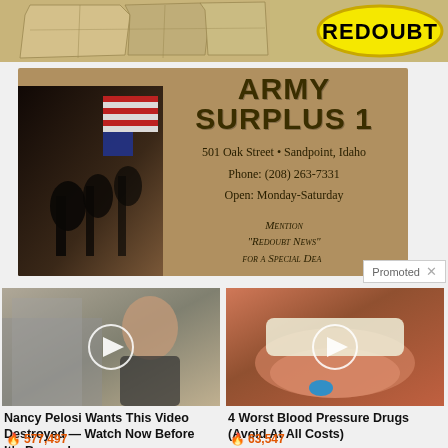[Figure (map): Partial map showing western US states (American Redoubt region) in tan/beige tones with county/state boundaries]
[Figure (logo): Yellow oval logo with black bold text reading REDOUBT]
[Figure (photo): Army Surplus 1 advertisement banner. Background tan/brown. Shows iconic Iwo Jima flag-raising photo on left side and US flag. Text: ARMY SURPLUS 1, 501 Oak Street • Sandpoint, Idaho, Phone: (208) 263-7331, Open: Monday-Saturday, Mention 'Redoubt News' for a Special Deal]
Promoted ×
[Figure (photo): Thumbnail of woman outdoors (Kamala Harris) with video play button overlay]
Nancy Pelosi Wants This Video Destroyed — Watch Now Before It's Banned
🔥 577,497
[Figure (photo): Thumbnail of open mouth with blue pill on tongue, video play button overlay]
4 Worst Blood Pressure Drugs (Avoid At All Costs)
🔥 63,547